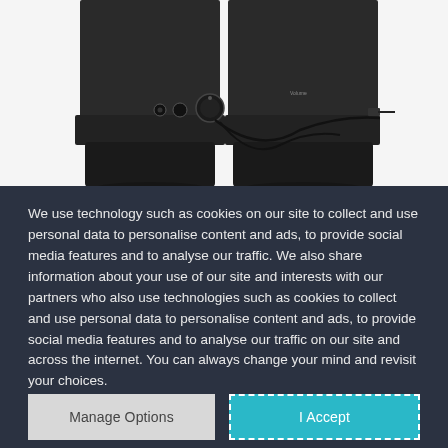[Figure (photo): Photograph of a pair of black computer speakers with connecting cables visible between them, showing volume knob and audio ports on the left speaker]
We use technology such as cookies on our site to collect and use personal data to personalise content and ads, to provide social media features and to analyse our traffic. We also share information about your use of our site and interests with our partners who also use technologies such as cookies to collect and use personal data to personalise content and ads, to provide social media features and to analyse our traffic on our site and across the internet. You can always change your mind and revisit your choices.